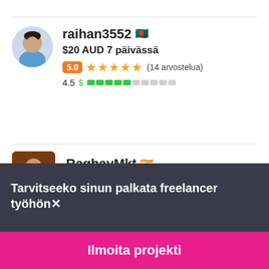[Figure (photo): Freelancer profile photo of raihan3552, a man in a blue shirt]
raihan3552 🇧🇩
$20 AUD 7 päivässä
5.0 ★★★★★ (14 arvostelua)
4.5 $ competence bar
[Figure (photo): Freelancer profile photo of RaghavMkt, partially visible]
RaghavMkt 🇮🇳
Tarvitseeko sinun palkata freelancer työhön✕
Ilmoita projekti